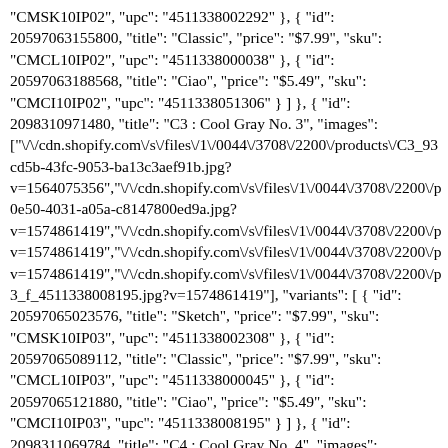"CMSK10IP02", "upc": "4511338002292" }, { "id": 20597063155800, "title": "Classic", "price": "$7.99", "sku": "CMCL10IP02", "upc": "4511338000038" }, { "id": 20597063188568, "title": "Ciao", "price": "$5.49", "sku": "CMCI10IP02", "upc": "4511338051306" } ] }, { "id": 2098310971480, "title": "C3 : Cool Gray No. 3", "images": ["\/\/cdn.shopify.com\/s\/files\/1\/0044\/3708\/2200\/products\/C3_93cd5b-43fc-9053-ba13c3aef91b.jpg?v=1564075356","\/\/cdn.shopify.com\/s\/files\/1\/0044\/3708\/2200\/p0e50-4031-a05a-c8147800ed9a.jpg?v=1574861419","\/\/cdn.shopify.com\/s\/files\/1\/0044\/3708\/2200\/pv=1574861419","\/\/cdn.shopify.com\/s\/files\/1\/0044\/3708\/2200\/pv=1574861419","\/\/cdn.shopify.com\/s\/files\/1\/0044\/3708\/2200\/p3_f_4511338008195.jpg?v=1574861419"], "variants": [ { "id": 20597065023576, "title": "Sketch", "price": "$7.99", "sku": "CMSK10IP03", "upc": "4511338002308" }, { "id": 20597065089112, "title": "Classic", "price": "$7.99", "sku": "CMCL10IP03", "upc": "4511338000045" }, { "id": 20597065121880, "title": "Ciao", "price": "$5.49", "sku": "CMCI10IP03", "upc": "4511338008195" } ] }, { "id": 2098311069784, "title": "C4 : Cool Gray No. 4", "images": ["\/\/cdn.shopify.com\/s\/files\/1\/0044\/3708\/2200\/products\/C4_2d5d76-4738-ade8-41fc03291b86.jpg?v=1564075357","\/\/cdn.shopify.com\/s\/files\/1\/0044\/3708\/2200\/p88b2-4b1d-9327-ed09d9aec896.jpg?